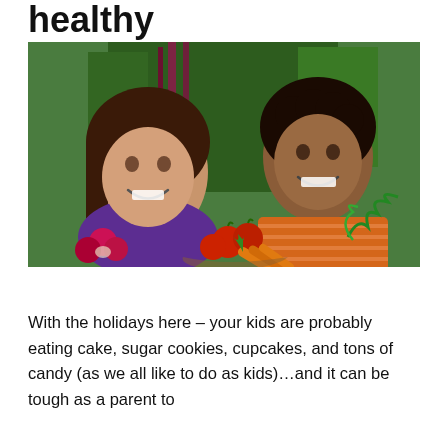healthy
[Figure (photo): Two smiling children (a girl in a purple top with braids and a boy in an orange striped shirt) holding a basket of fresh vegetables including tomatoes, carrots, radishes, and leafy greens in a garden setting.]
With the holidays here – your kids are probably eating cake, sugar cookies, cupcakes, and tons of candy (as we all like to do as kids)…and it can be tough as a parent to encourage children to eat more vegetables and healthy foods.